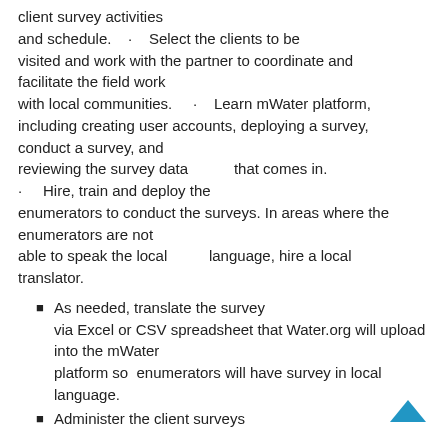client survey activities and schedule. · Select the clients to be visited and work with the partner to coordinate and facilitate the field work with local communities. · Learn mWater platform, including creating user accounts, deploying a survey, conduct a survey, and reviewing the survey data that comes in. · Hire, train and deploy the enumerators to conduct the surveys. In areas where the enumerators are not able to speak the local language, hire a local translator.
As needed, translate the survey via Excel or CSV spreadsheet that Water.org will upload into the mWater platform so enumerators will have survey in local language.
Administer the client surveys